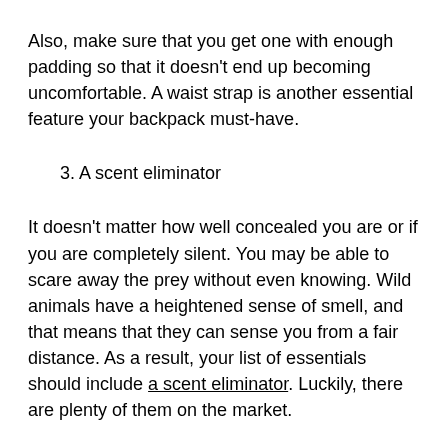Also, make sure that you get one with enough padding so that it doesn't end up becoming uncomfortable. A waist strap is another essential feature your backpack must-have.
3. A scent eliminator
It doesn't matter how well concealed you are or if you are completely silent. You may be able to scare away the prey without even knowing. Wild animals have a heightened sense of smell, and that means that they can sense you from a fair distance. As a result, your list of essentials should include a scent eliminator. Luckily, there are plenty of them on the market.
4. A high-quality rifle scope
It doesn't matter how...